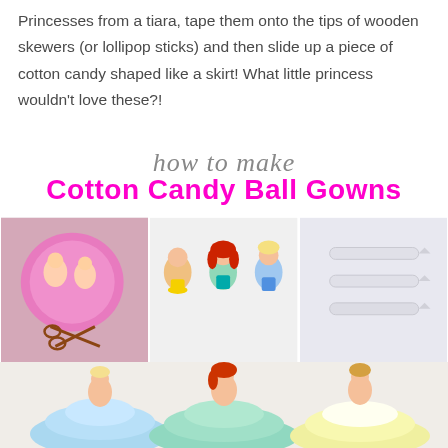Princesses from a tiara, tape them onto the tips of wooden skewers (or lollipop sticks) and then slide up a piece of cotton candy shaped like a skirt! What little princess wouldn't love these?!
how to make Cotton Candy Ball Gowns
[Figure (photo): Three-panel photo strip showing craft supplies: left panel has Disney princess sticker sheet with scissors, middle panel has three cut-out Disney princess figures (Belle, Ariel, Cinderella), right panel has wooden skewers/lollipop sticks]
[Figure (photo): Large bottom photo showing three completed cotton candy ball gowns with Disney princess toppers: Cinderella (blue cotton candy), Ariel (mint/teal cotton candy), and Belle (yellow cotton candy), princess figures inserted on sticks above the cotton candy skirts]